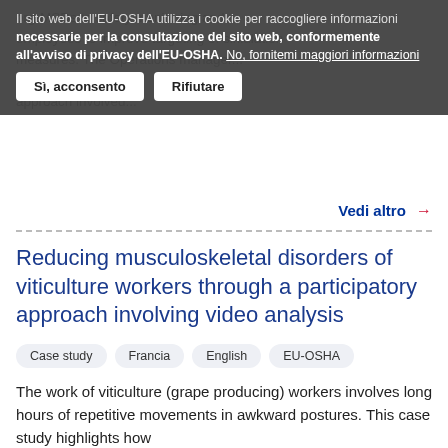[Figure (screenshot): Cookie consent overlay banner from EU-OSHA website in Italian, with buttons 'Sì, acconsento' and 'Rifiutare', and a link 'No, fornitemi maggiori informazioni']
Vedi altro →
Reducing musculoskeletal disorders of viticulture workers through a participatory approach involving video analysis
Case study
Francia
English
EU-OSHA
The work of viticulture (grape producing) workers involves long hours of repetitive movements in awkward postures. This case study highlights how